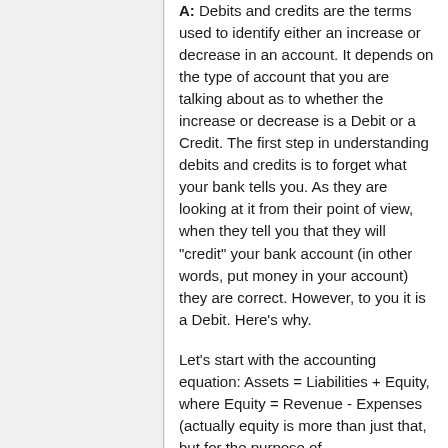A: Debits and credits are the terms used to identify either an increase or decrease in an account. It depends on the type of account that you are talking about as to whether the increase or decrease is a Debit or a Credit. The first step in understanding debits and credits is to forget what your bank tells you. As they are looking at it from their point of view, when they tell you that they will "credit" your bank account (in other words, put money in your account) they are correct. However, to you it is a Debit. Here's why.
Let's start with the accounting equation: Assets = Liabilities + Equity, where Equity = Revenue - Expenses (actually equity is more than just that, but for the purpose of